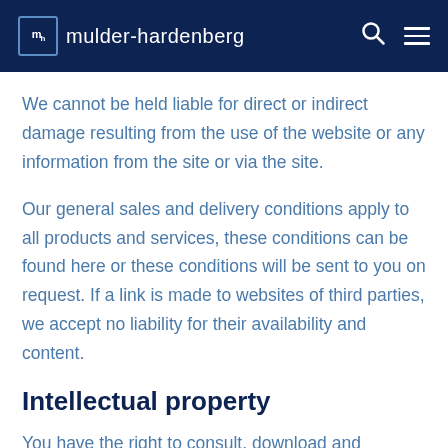mulder-hardenberg
We cannot be held liable for direct or indirect damage resulting from the use of the website or any information from the site or via the site.
Our general sales and delivery conditions apply to all products and services, these conditions can be found here or these conditions will be sent to you on request. If a link is made to websites of third parties, we accept no liability for their availability and content.
Intellectual property
You have the right to consult, download and reproduce the